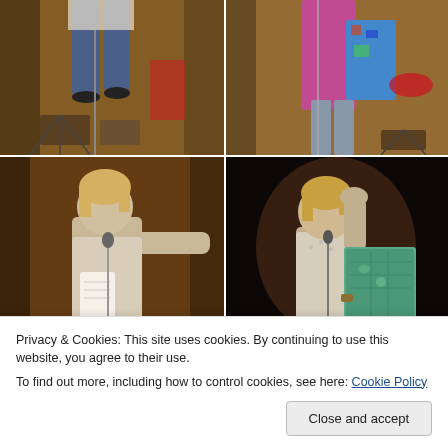[Figure (photo): Top-left photo: person standing on stage, lower body visible in jeans, with musical equipment and curtain backdrop]
[Figure (photo): Top-right photo: person in colorful outfit standing on stage holding something, with curtain backdrop and lights]
[Figure (photo): Middle-left photo: young man with blond hair at microphone stand, holding papers, extending arm outward, warm stage lighting]
[Figure (photo): Middle-right photo: young man with blond hair at microphone stand, holding a map/book with teal cover, hand on head, dark background]
Privacy & Cookies: This site uses cookies. By continuing to use this website, you agree to their use.
To find out more, including how to control cookies, see here: Cookie Policy
Close and accept